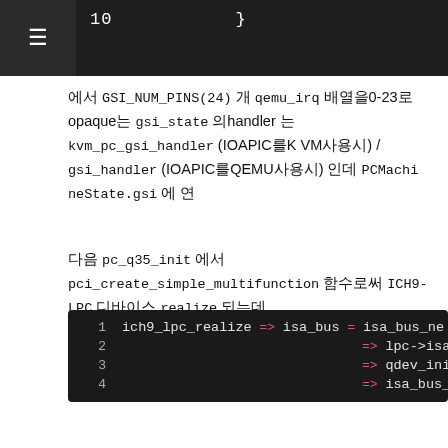10    }
에서 GSI_NUM_PINS(24) 개 qemu_irq 배열을0-23로opaque는 gsi_state 의handler 는 kvm_pc_gsi_handler (IOAPIC를KVM사용시) / gsi_handler (IOAPIC를QEMU사용시) 인데 PCMachineState.gsi 에 연
다음 pc_q35_init 에서 pci_create_simple_multifunction 함수로써 ICH9-LPC 디바이스 realize 되는데
[Figure (screenshot): Code block showing ich9_lpc_realize function with 4 lines: 1: ich9_lpc_realize => isa_bus = isa_bus_ne, 2: => lpc->isa_bus = isa_b, 3: => qdev_init_gpio_out_n, 4: => isa_bus_irqs(isa_bus]
에서 qdev_init_gpio_out_named 함수로24개out GPIO(qemu_irq)배열이만들어져 DeviceState 의 gpios 해시맵에"gsi"로써 qemu_irq 레퍼런스가 "name[i]" 으로dev의link되면서 ICH9LPCState.gsi 에연결되게됩